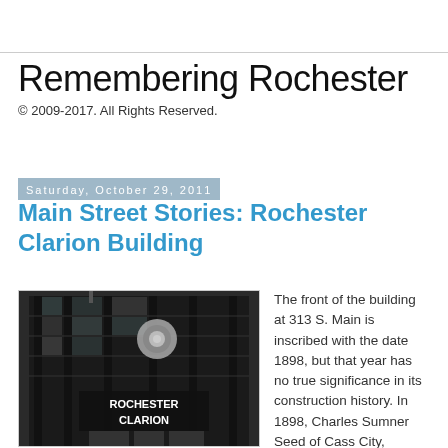Remembering Rochester
© 2009-2017. All Rights Reserved.
Saturday, October 29, 2011
Main Street Stories: Rochester Clarion Building
[Figure (photo): Black and white photograph of the Rochester Clarion building facade showing a multi-story dark glass building with 'ROCHESTER CLARION' sign and a circular decorative element]
The front of the building at 313 S. Main is inscribed with the date 1898, but that year has no true significance in its construction history. In 1898, Charles Sumner Seed of Cass City, Michigan, was invited to